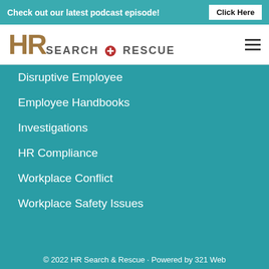Check out our latest podcast episode! Click Here
[Figure (logo): HR Search & Rescue logo with hamburger menu icon]
Disruptive Employee
Employee Handbooks
Investigations
HR Compliance
Workplace Conflict
Workplace Safety Issues
© 2022 HR Search & Rescue · Powered by 321 Web